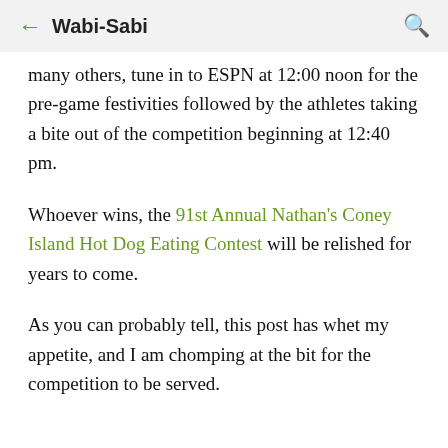← Wabi-Sabi 🔍
many others, tune in to ESPN at 12:00 noon for the pre-game festivities followed by the athletes taking a bite out of the competition beginning at 12:40 pm.
Whoever wins, the 91st Annual Nathan's Coney Island Hot Dog Eating Contest will be relished for years to come.
As you can probably tell, this post has whet my appetite, and I am chomping at the bit for the competition to be served.